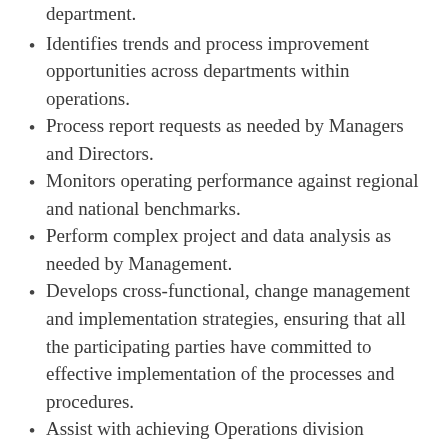documenting tasks and duties within the department.
Identifies trends and process improvement opportunities across departments within operations.
Process report requests as needed by Managers and Directors.
Monitors operating performance against regional and national benchmarks.
Perform complex project and data analysis as needed by Management.
Develops cross-functional, change management and implementation strategies, ensuring that all the participating parties have committed to effective implementation of the processes and procedures.
Assist with achieving Operations division strategic goals as well as organizational goals
Recommend and implement process